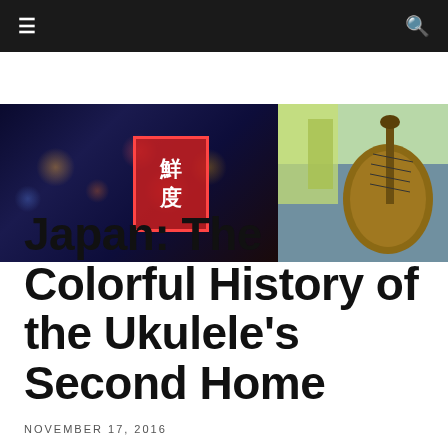≡  🔍
[Figure (photo): Two-panel hero image: left panel shows a night scene of a Japanese city street with neon signs including Chinese/Japanese kanji characters on red signs; right panel shows a person in yellow shirt playing a ukulele/guitar.]
Japan: The Colorful History of the Ukulele's Second Home
NOVEMBER 17, 2016
From the Winter 2016 issue of Ukulele | BY KEVIN C. CROWELL